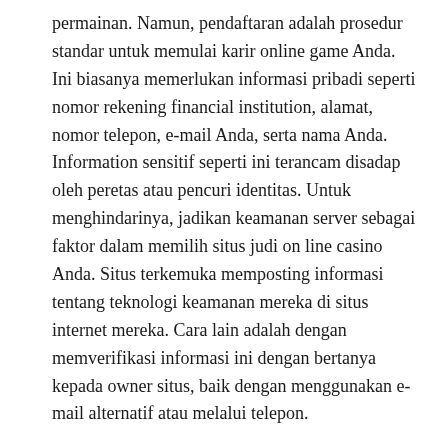permainan. Namun, pendaftaran adalah prosedur standar untuk memulai karir online game Anda. Ini biasanya memerlukan informasi pribadi seperti nomor rekening financial institution, alamat, nomor telepon, e-mail Anda, serta nama Anda. Information sensitif seperti ini terancam disadap oleh peretas atau pencuri identitas. Untuk menghindarinya, jadikan keamanan server sebagai faktor dalam memilih situs judi on line casino Anda. Situs terkemuka memposting informasi tentang teknologi keamanan mereka di situs internet mereka. Cara lain adalah dengan memverifikasi informasi ini dengan bertanya kepada owner situs, baik dengan menggunakan e-mail alternatif atau melalui telepon.
Ketika Anda puas dengan langkah-langkah keamanan mereka, jangan mendaftar dulu. Mengetahui situs internet perjudian kasino yang Anda gunakan serta pertaruhkan memberi Anda